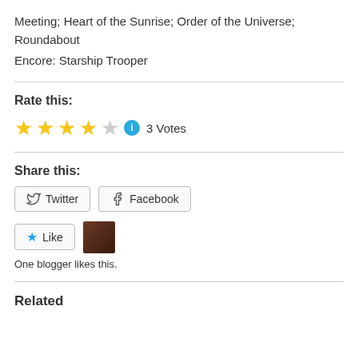Meeting; Heart of the Sunrise; Order of the Universe; Roundabout
Encore: Starship Trooper
Rate this:
[Figure (other): 4 filled gold stars and 1 empty star rating widget with info icon and '3 Votes' label]
Share this:
[Figure (other): Twitter and Facebook share buttons]
[Figure (other): Like button with star icon and a blogger avatar thumbnail]
One blogger likes this.
Related